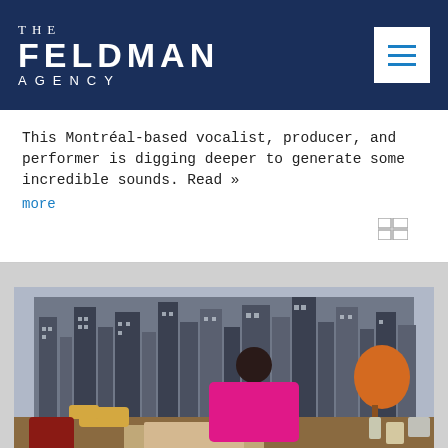[Figure (logo): The Feldman Agency logo in white text on dark navy blue background]
This Montréal-based vocalist, producer, and performer is digging deeper to generate some incredible sounds. Read » more
[Figure (photo): A woman in a bright pink outfit sitting at a desk with her feet up, holding papers, with a city skyline backdrop and an orange lamp in the background.]
@Rolling Stone